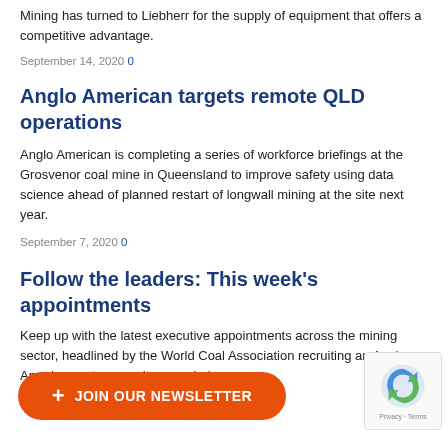Mining has turned to Liebherr for the supply of equipment that offers a competitive advantage.
September 14, 2020 0
Anglo American targets remote QLD operations
Anglo American is completing a series of workforce briefings at the Grosvenor coal mine in Queensland to improve safety using data science ahead of planned restart of longwall mining at the site next year.
September 7, 2020 0
Follow the leaders: This week's appointments
Keep up with the latest executive appointments across the mining sector, headlined by the World Coal Association recruiting an Anglo American veteran as its new chairman.